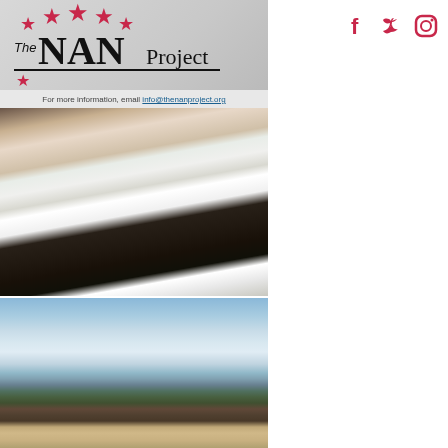[Figure (logo): The NAN Project logo with pink stars and text 'The NAN Project' with decorative underline]
[Figure (other): Social media icons: Facebook, Twitter, Instagram in crimson/pink color]
For more information, email info@thenanproject.org
[Figure (photo): Portrait photo of a young woman with long auburn hair, wearing a white cardigan over dark top, sitting near a window with stone wall background]
[Figure (photo): Outdoor photo of a person standing in front of a lake/water scene with cloudy sky]